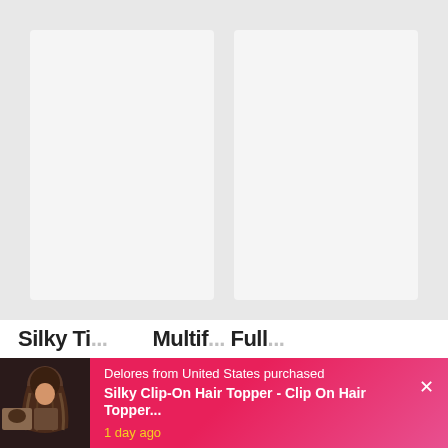[Figure (photo): Two product image cards side by side with light gray placeholder backgrounds on a light gray page background]
Silky Ticker Hardener (S... Multifunctional Full...
[Figure (photo): Notification popup bar with pink-to-magenta gradient background showing a hair topper product image on the left, text content in center, and close button on right]
Delores from United States purchased
Silky Clip-On Hair Topper - Clip On Hair Topper...
1 day ago